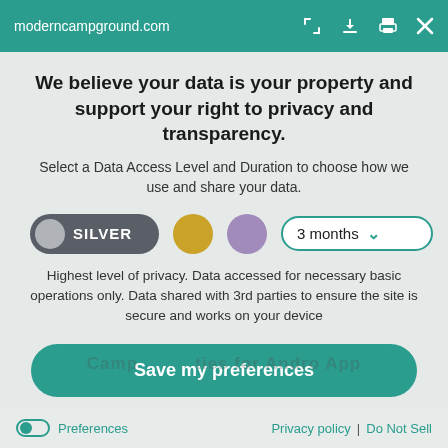moderncampground.com
We believe your data is your property and support your right to privacy and transparency.
Select a Data Access Level and Duration to choose how we use and share your data.
[Figure (infographic): Privacy level selector showing SILVER toggle button (dark grey rounded pill with grey circle and SILVER text), a gold circle, a purple circle, and a '3 months' dropdown with teal border and chevron.]
Highest level of privacy. Data accessed for necessary basic operations only. Data shared with 3rd parties to ensure the site is secure and works on your device
[Figure (infographic): Large teal rounded button with white bold text: Save my preferences]
Preferences   Privacy policy  |  Do Not Sell